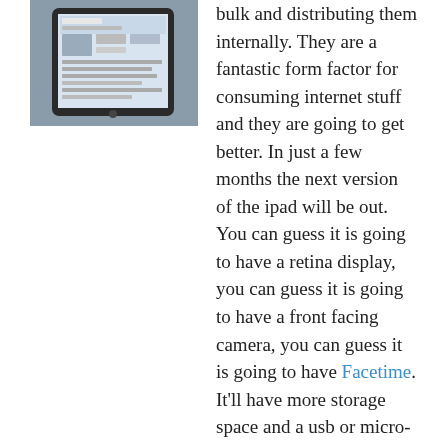[Figure (photo): Photo of a tablet/iPad displaying a news website, shown in a vehicle or indoor setting.]
bulk and distributing them internally. They are a fantastic form factor for consuming internet stuff and they are going to get better. In just a few months the next version of the ipad will be out. You can guess it is going to have a retina display, you can guess it is going to have a front facing camera, you can guess it is going to have Facetime. It'll have more storage space and a usb or micro-usb port. These are things that are surely going to come to the ipad and they are just going to walk all over that market.
“I use the iPad as a laptop replacement for conferences. A big issue bringing a laptop to a conference is that you’re always looking for power. The battery will run out after two or three hours whereas the iPad will still have